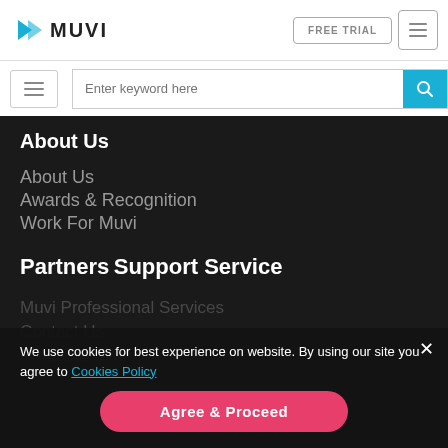[Figure (logo): Muvi logo with cyan angular icon and bold MUVI text]
FREE TRIAL
[Figure (screenshot): Navigation menu button (hamburger icon)]
[Figure (screenshot): Search bar with 'Enter keyword here' placeholder and cyan search button]
About Us
About Us
Awards & Recognition
Work For Muvi
Partners
Support Service
Muvi Professional Services
Contact Us
Products Overview
We use cookies for best experience on website. By using our site you agree to Cookies Policy
Agree & Proceed